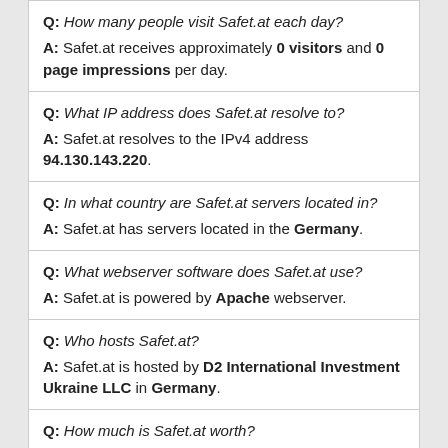Q: How many people visit Safet.at each day?
A: Safet.at receives approximately 0 visitors and 0 page impressions per day.
Q: What IP address does Safet.at resolve to?
A: Safet.at resolves to the IPv4 address 94.130.143.220.
Q: In what country are Safet.at servers located in?
A: Safet.at has servers located in the Germany.
Q: What webserver software does Safet.at use?
A: Safet.at is powered by Apache webserver.
Q: Who hosts Safet.at?
A: Safet.at is hosted by D2 International Investment Ukraine LLC in Germany.
Q: How much is Safet.at worth?